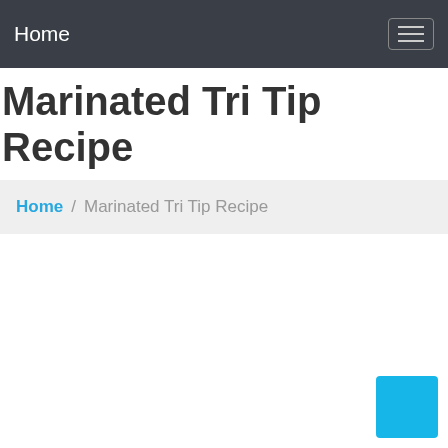Home
Marinated Tri Tip Recipe
Home / Marinated Tri Tip Recipe
[Figure (other): Blue square button in bottom-right corner]